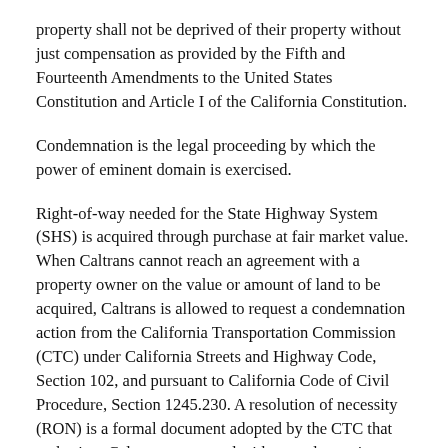property shall not be deprived of their property without just compensation as provided by the Fifth and Fourteenth Amendments to the United States Constitution and Article I of the California Constitution.
Condemnation is the legal proceeding by which the power of eminent domain is exercised.
Right-of-way needed for the State Highway System (SHS) is acquired through purchase at fair market value. When Caltrans cannot reach an agreement with a property owner on the value or amount of land to be acquired, Caltrans is allowed to request a condemnation action from the California Transportation Commission (CTC) under California Streets and Highway Code, Section 102, and pursuant to California Code of Civil Procedure, Section 1245.230. A resolution of necessity (RON) is a formal document adopted by the CTC that authorizes Caltrans to proceed with a condemnation action to acquire property.
Under eminent domain law, a property owner may request to